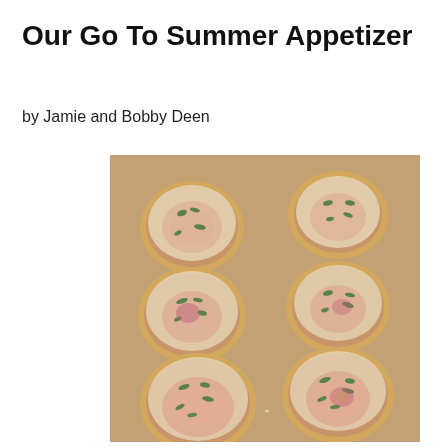Our Go To Summer Appetizer
by Jamie and Bobby Deen
[Figure (photo): Six small round mini pizzas or biscuit-style appetizers topped with tomato slices, melted cheese, and fresh herbs (basil), arranged on a parchment-lined baking sheet, viewed from above at a slight angle.]